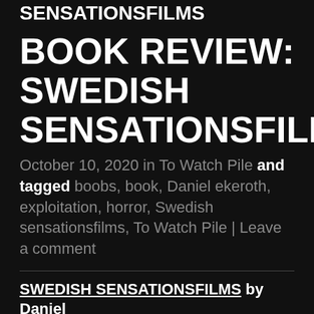SENSATIONSFILMS
BOOK REVIEW: SWEDISH SENSATIONSFILMS
October 10, 2020 in To Watch Pile and tagged boobs, book, Daniel ekeroth, exploitation, horror, Swedish sensationsfilms, To Watch Pile | Leave a comment
SWEDISH SENSATIONSFILMS by Daniel